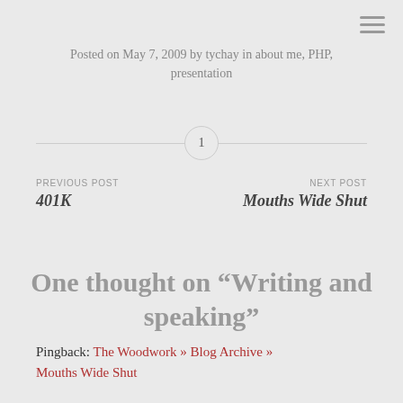Posted on May 7, 2009 by tychay in about me, PHP, presentation
1
PREVIOUS POST
401K
NEXT POST
Mouths Wide Shut
One thought on “Writing and speaking”
Pingback: The Woodwork » Blog Archive » Mouths Wide Shut